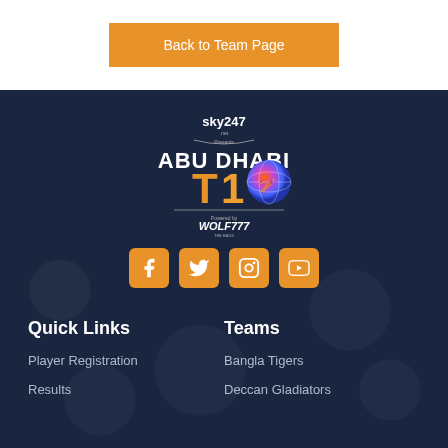Back to Team Page
[Figure (logo): sky247 presents Abu Dhabi T10 powered by WOLF777 logo]
[Figure (infographic): Social media icons: Facebook, Twitter, Instagram, YouTube - orange rounded square icons]
Quick Links
Teams
Player Registration
Results
Bangla Tigers
Deccan Gladiators